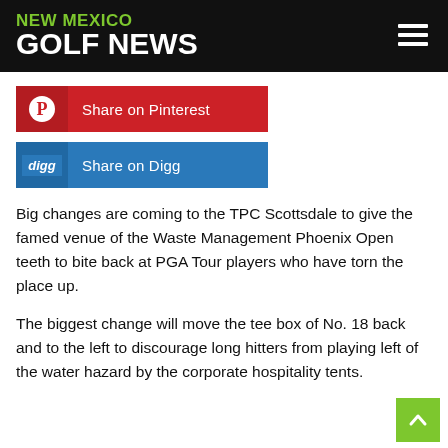NEW MEXICO GOLF NEWS
[Figure (infographic): Share on Pinterest button — red background with Pinterest circle P icon on left and white text 'Share on Pinterest']
[Figure (infographic): Share on Digg button — blue background with 'digg' italic label on left and white text 'Share on Digg']
Big changes are coming to the TPC Scottsdale to give the famed venue of the Waste Management Phoenix Open teeth to bite back at PGA Tour players who have torn the place up.
The biggest change will move the tee box of No. 18 back and to the left to discourage long hitters from playing left of the water hazard by the corporate hospitality tents.